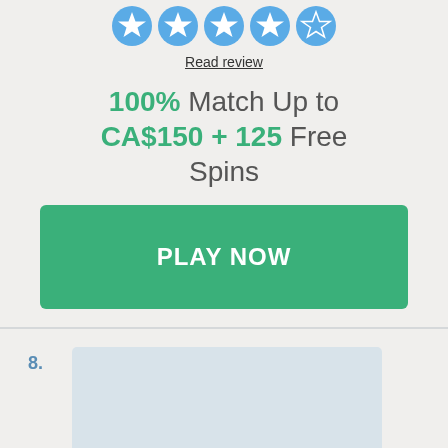[Figure (illustration): Five star rating icons: four filled blue stars and one empty/outline star]
Read review
100% Match Up to CA$150 + 125 Free Spins
PLAY NOW
8.
[Figure (illustration): Casino logo placeholder image with light blue-grey background]